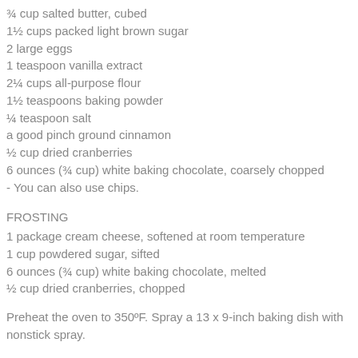¾ cup salted butter, cubed
1½ cups packed light brown sugar
2 large eggs
1 teaspoon vanilla extract
2¼ cups all-purpose flour
1½ teaspoons baking powder
¼ teaspoon salt
a good pinch ground cinnamon
½ cup dried cranberries
6 ounces (¾ cup) white baking chocolate, coarsely chopped - You can also use chips.
FROSTING
1 package cream cheese, softened at room temperature
1 cup powdered sugar, sifted
6 ounces (¾ cup) white baking chocolate, melted
½ cup dried cranberries, chopped
Preheat the oven to 350ºF. Spray a 13 x 9-inch baking dish with nonstick spray.
To prepare the blondies: